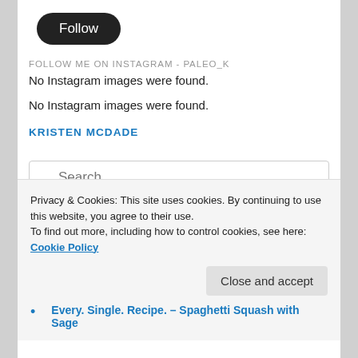[Figure (other): Black rounded rectangle Follow button]
FOLLOW ME ON INSTAGRAM - PALEO_K
No Instagram images were found.
No Instagram images were found.
KRISTEN MCDADE
Search
Privacy & Cookies: This site uses cookies. By continuing to use this website, you agree to their use.
To find out more, including how to control cookies, see here: Cookie Policy
Close and accept
Every. Single. Recipe. – Spaghetti Squash with Sage